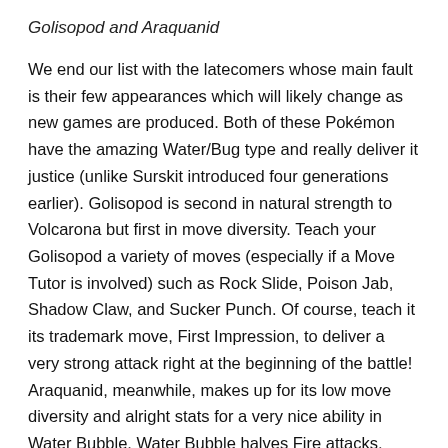Golisopod and Araquanid
We end our list with the latecomers whose main fault is their few appearances which will likely change as new games are produced. Both of these Pokémon have the amazing Water/Bug type and really deliver it justice (unlike Surskit introduced four generations earlier). Golisopod is second in natural strength to Volcarona but first in move diversity. Teach your Golisopod a variety of moves (especially if a Move Tutor is involved) such as Rock Slide, Poison Jab, Shadow Claw, and Sucker Punch. Of course, teach it its trademark move, First Impression, to deliver a very strong attack right at the beginning of the battle! Araquanid, meanwhile, makes up for its low move diversity and alright stats for a very nice ability in Water Bubble. Water Bubble halves Fire attacks, doubles Water attacks, and